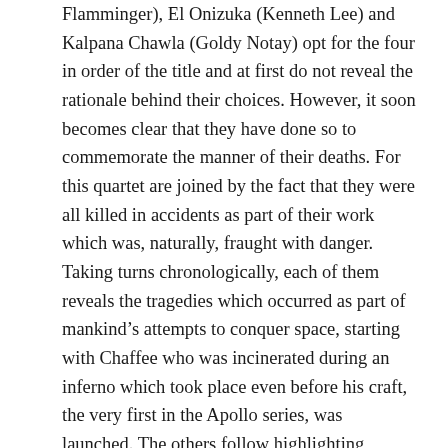Flamminger), El Onizuka (Kenneth Lee) and Kalpana Chawla (Goldy Notay) opt for the four in order of the title and at first do not reveal the rationale behind their choices. However, it soon becomes clear that they have done so to commemorate the manner of their deaths. For this quartet are joined by the fact that they were all killed in accidents as part of their work which was, naturally, fraught with danger. Taking turns chronologically, each of them reveals the tragedies which occurred as part of mankind's attempts to conquer space, starting with Chaffee who was incinerated during an inferno which took place even before his craft, the very first in the Apollo series, was launched. The others follow highlighting disasters taking place on the Russian Soyuz mission and, later, the events surrounding both Challenger and Columbia disasters. Interspersed with this the four discuss their